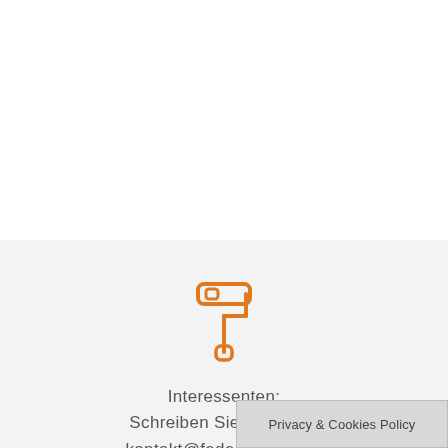[Figure (illustration): Orange paint roller icon on light grey background]
Interessenten:
Schreiben Sie uns unter
kontakt@federmeister.de
Privacy & Cookies Policy